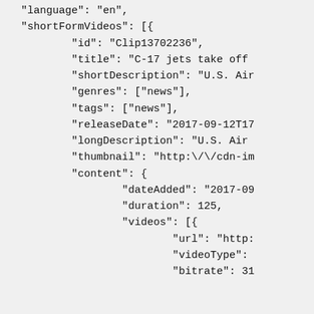"language": "en",
"shortFormVideos": [{
        "id": "Clip13702236",
        "title": "C-17 jets take off
        "shortDescription": "U.S. Air
        "genres": ["news"],
        "tags": ["news"],
        "releaseDate": "2017-09-12T17
        "longDescription": "U.S. Air
        "thumbnail": "http:\/\/cdn-im
        "content": {
                "dateAdded": "2017-09
                "duration": 125,
                "videos": [{
                        "url": "http:
                        "videoType":
                        "bitrate": 31